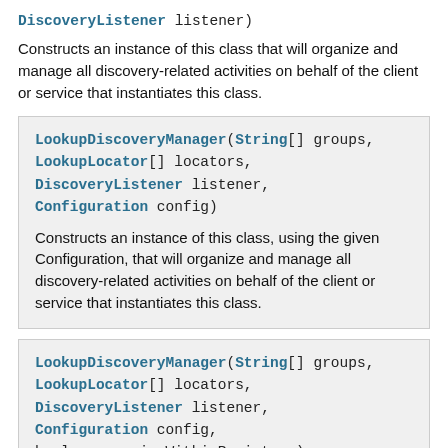DiscoveryListener listener)
Constructs an instance of this class that will organize and manage all discovery-related activities on behalf of the client or service that instantiates this class.
LookupDiscoveryManager(String[] groups, LookupLocator[] locators, DiscoveryListener listener, Configuration config)
Constructs an instance of this class, using the given Configuration, that will organize and manage all discovery-related activities on behalf of the client or service that instantiates this class.
LookupDiscoveryManager(String[] groups, LookupLocator[] locators, DiscoveryListener listener, Configuration config, boolean runningWithinRegistrar)